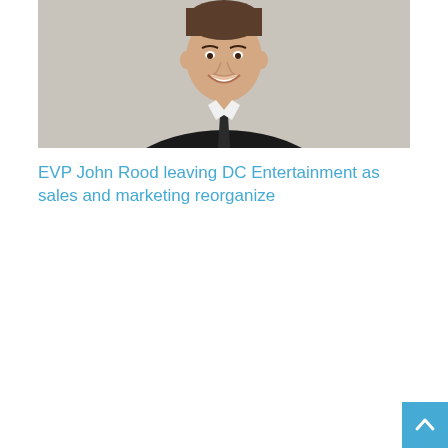[Figure (photo): Headshot of a smiling man in a dark suit, white shirt, and dark tie against a light grey/beige background. The photo is cropped from the chest up.]
EVP John Rood leaving DC Entertainment as sales and marketing reorganize